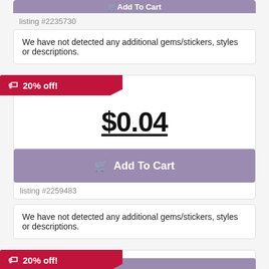Add To Cart
listing #2235730
We have not detected any additional gems/stickers, styles or descriptions.
20% off!
$0.04
Add To Cart
listing #2259483
We have not detected any additional gems/stickers, styles or descriptions.
20% off!
$0.04